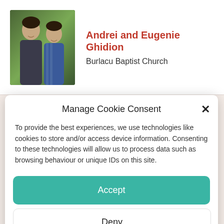[Figure (photo): Profile photo of Andrei and Eugenie Ghidion, a couple posing together outdoors with greenery in background]
Andrei and Eugenie Ghidion
Burlacu Baptist Church
Manage Cookie Consent
To provide the best experiences, we use technologies like cookies to store and/or access device information. Consenting to these technologies will allow us to process data such as browsing behaviour or unique IDs on this site.
Accept
Deny
View preferences
Cookie Policy  Privacy Notice